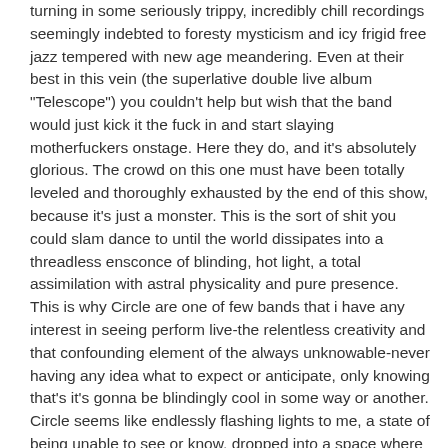turning in some seriously trippy, incredibly chill recordings seemingly indebted to foresty mysticism and icy frigid free jazz tempered with new age meandering. Even at their best in this vein (the superlative double live album "Telescope") you couldn't help but wish that the band would just kick it the fuck in and start slaying motherfuckers onstage. Here they do, and it's absolutely glorious. The crowd on this one must have been totally leveled and thoroughly exhausted by the end of this show, because it's just a monster. This is the sort of shit you could slam dance to until the world dissipates into a threadless ensconce of blinding, hot light, a total assimilation with astral physicality and pure presence. This is why Circle are one of few bands that i have any interest in seeing perform live-the relentless creativity and that confounding element of the always unknowable-never having any idea what to expect or anticipate, only knowing that's it's gonna be blindingly cool in some way or another. Circle seems like endlessly flashing lights to me, a state of being unable to see or know, dropped into a space where you're just forced to react to what's there and take it all in to whatever you're doing. It's joyous, insane music born completely of the know and the real. "Rakennus" is one of